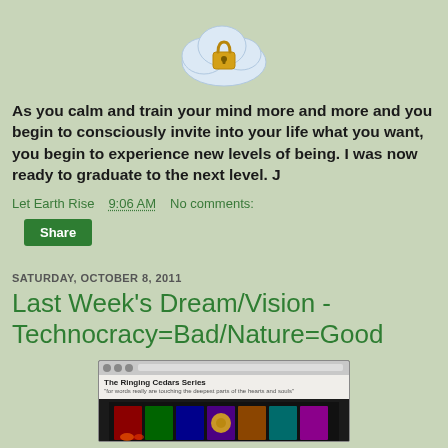[Figure (illustration): Cloud with a gold padlock icon in the center]
As you calm and train your mind more and more and you begin to consciously invite into your life what you want, you begin to experience new levels of being.  I was now ready to graduate to the next level.  J
Let Earth Rise   9:06 AM   No comments:
Share
SATURDAY, OCTOBER 8, 2011
Last Week's Dream/Vision - Technocracy=Bad/Nature=Good
[Figure (screenshot): Screenshot of The Ringing Cedars Series website showing book covers on dark background]